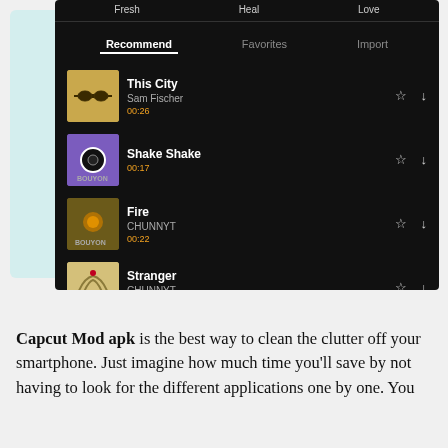[Figure (screenshot): Mobile app screenshot showing a music app with dark theme. Top tabs: Fresh, Heal, Love. Navigation: Recommend (active), Favorites, Import. Song list: This City by Sam Fischer (00:26), Shake Shake (00:17), Fire by CHUNNYT (00:22), Stranger by CHUNNYT (00:18). Each row has album art thumbnail, star icon, and download icon.]
Capcut Mod apk is the best way to clean the clutter off your smartphone. Just imagine how much time you'll save by not having to look for the different applications one by one. You